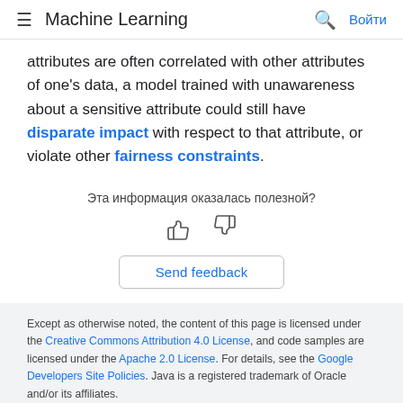Machine Learning
attributes are often correlated with other attributes of one's data, a model trained with unawareness about a sensitive attribute could still have disparate impact with respect to that attribute, or violate other fairness constraints.
Эта информация оказалась полезной?
[Figure (other): Thumbs up and thumbs down feedback icons]
Send feedback
Except as otherwise noted, the content of this page is licensed under the Creative Commons Attribution 4.0 License, and code samples are licensed under the Apache 2.0 License. For details, see the Google Developers Site Policies. Java is a registered trademark of Oracle and/or its affiliates.